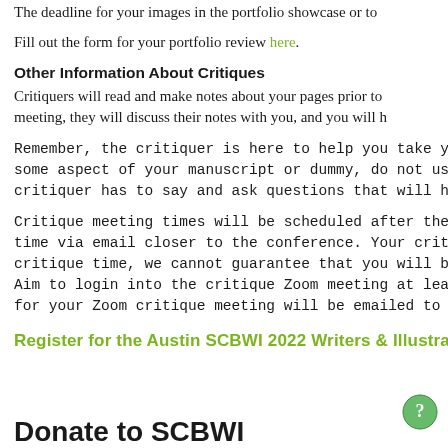The deadline for your images in the portfolio showcase or to
Fill out the form for your portfolio review here.
Other Information About Critiques
Critiquers will read and make notes about your pages prior to meeting, they will discuss their notes with you, and you will h
Remember, the critiquer is here to help you take your work t some aspect of your manuscript or dummy, do not use this critiquer has to say and ask questions that will help with you.
Critique meeting times will be scheduled after the April 30-M time via email closer to the conference. Your critique meeti critique time, we cannot guarantee that you will be able to g Aim to login into the critique Zoom meeting at least five (5) for your Zoom critique meeting will be emailed to you.
Register for the Austin SCBWI 2022 Writers & Illustra
Donate to SCBWI